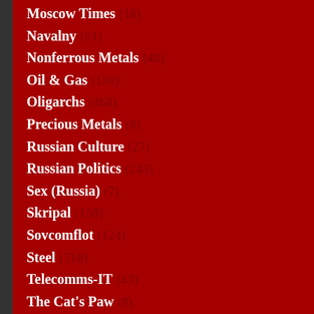Moscow Times (18)
Navalny (61)
Nonferrous Metals (48)
Oil & Gas (130)
Oligarchs (468)
Precious Metals (8)
Russian Culture (27)
Russian Politics (245)
Sex (Russia) (7)
Skripal (158)
Sovcomflot (124)
Steel (710)
Telecomms-IT (43)
The Cat's Paw (8)